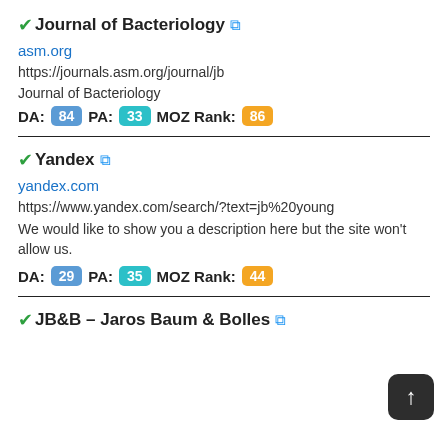✓Journal of Bacteriology 🔗
asm.org
https://journals.asm.org/journal/jb
Journal of Bacteriology
DA: 84  PA: 33  MOZ Rank: 86
✓Yandex 🔗
yandex.com
https://www.yandex.com/search/?text=jb%20young
We would like to show you a description here but the site won't allow us.
DA: 29  PA: 35  MOZ Rank: 44
✓JB&B – Jaros Baum & Bolles 🔗